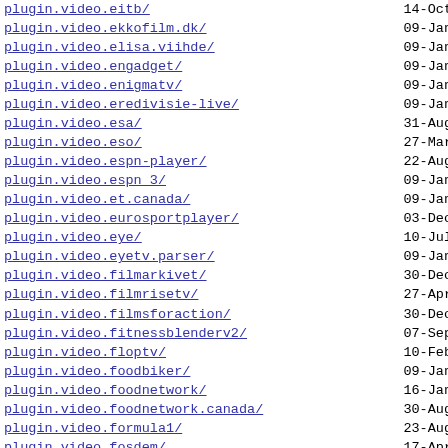plugin.video.eitb/   14-Oct
plugin.video.ekkofilm.dk/   09-Jan
plugin.video.elisa.viihde/   09-Jan
plugin.video.engadget/   09-Jan
plugin.video.enigmatv/   09-Jan
plugin.video.eredivisie-live/   09-Jan
plugin.video.esa/   31-Aug
plugin.video.eso/   27-Mar
plugin.video.espn-player/   22-Aug
plugin.video.espn 3/   09-Jan
plugin.video.et.canada/   09-Jan
plugin.video.eurosportplayer/   03-Dec
plugin.video.eye/   10-Jul
plugin.video.eyetv.parser/   09-Jan
plugin.video.filmarkivet/   30-Dec
plugin.video.filmrisetv/   27-Apr
plugin.video.filmsforaction/   30-Dec
plugin.video.fitnessblenderv2/   07-Sep
plugin.video.floptv/   10-Feb
plugin.video.foodbiker/   09-Jan
plugin.video.foodnetwork/   16-Jan
plugin.video.foodnetwork.canada/   30-Aug
plugin.video.formula1/   23-Aug
plugin.video.fosdem/   17-Apr
plugin.video.fox.news/   28-Apr
plugin.video.francetv/   23-Feb
plugin.video.frikanalen/   08-Nov
plugin.video.fsgo/   14-Feb
plugin.video.funkmediathek/   22-Dec
plugin.video.funnynordie/   26-Feb